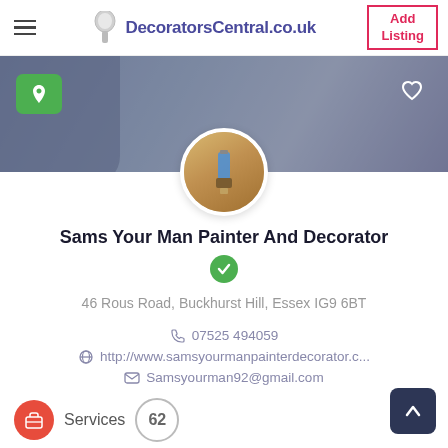DecoratorsCentral.co.uk | Add Listing
[Figure (photo): Hero banner with a person painting a wall, with a green location pin badge and a white heart icon overlay]
[Figure (photo): Circular avatar photo showing a hand painting a surface with a blue brush, overlaid on the profile card]
Sams Your Man Painter And Decorator
46 Rous Road, Buckhurst Hill, Essex IG9 6BT
07525 494059
http://www.samsyourmanpainterdecorator.c...
Samsyourman92@gmail.com
Services  62  Local